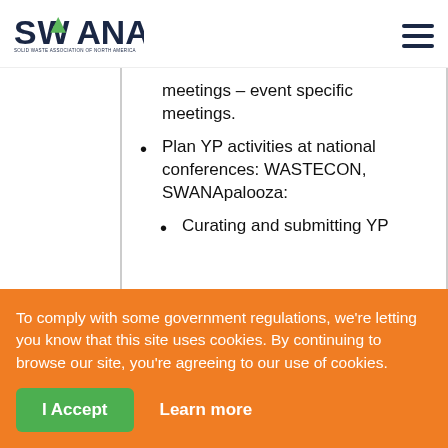SWANA - Solid Waste Association of North America
meetings – event specific meetings.
Plan YP activities at national conferences: WASTECON, SWANApalooza:
Curating and submitting YP...
To comply with some government regulations, we're letting you know that this site uses cookies. By continuing to browse our site, you're agreeing to our use of cookies.